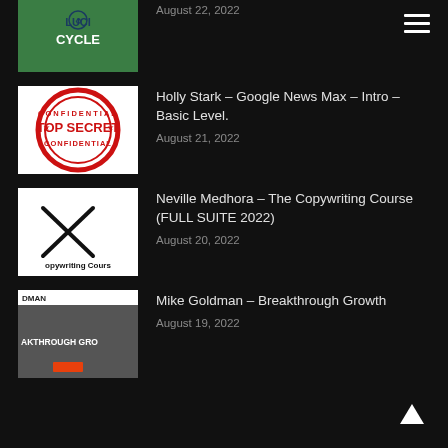[Figure (screenshot): Thumbnail image with green background showing LUCI CYCLE logo/text]
August 22, 2022
[Figure (screenshot): Top Secret Confidential red stamp/seal logo on white background]
Holly Stark – Google News Max – Intro – Basic Level.
August 21, 2022
[Figure (screenshot): Copywriting Course thumbnail with crossed pen nibs on white background]
Neville Medhora – The Copywriting Course (FULL SUITE 2022)
August 20, 2022
[Figure (screenshot): Mike Goldman Breakthrough Growth course website screenshot]
Mike Goldman – Breakthrough Growth
August 19, 2022